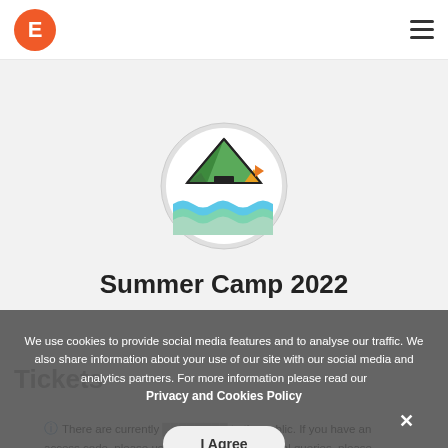[Figure (logo): Orange circular logo with white letter E — Eventbrite logo]
[Figure (illustration): Circular camp logo showing a green tent, orange flag, and wavy blue/teal water lines on light gray background]
Summer Camp 2022
Tickets
We use cookies to provide social media features and to analyse our traffic. We also share information about your use of our site with our social media and analytics partners. For more information please read our Privacy and Cookies Policy
There are currently [tickets not available] to the public. If you have an access code, please use this above. For general queries, please contact the organiser.